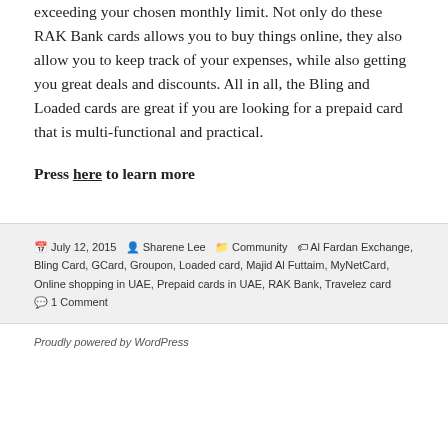exceeding your chosen monthly limit. Not only do these RAK Bank cards allows you to buy things online, they also allow you to keep track of your expenses, while also getting you great deals and discounts. All in all, the Bling and Loaded cards are great if you are looking for a prepaid card that is multi-functional and practical.
Press here to learn more
July 12, 2015  Sharene Lee  Community  Al Fardan Exchange, Bling Card, GCard, Groupon, Loaded card, Majid Al Futtaim, MyNetCard, Online shopping in UAE, Prepaid cards in UAE, RAK Bank, Travelez card  1 Comment
Proudly powered by WordPress